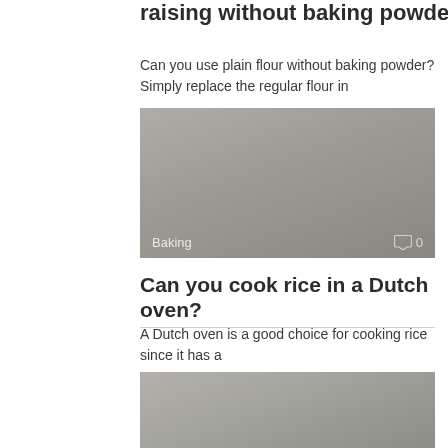raising without baking powder?
Can you use plain flour without baking powder? Simply replace the regular flour in
[Figure (photo): Grey/beige image with 'Baking' label at bottom left and comment icon with '0' at bottom right]
Can you cook rice in a Dutch oven?
A Dutch oven is a good choice for cooking rice since it has a
[Figure (photo): Grey/beige image placeholder at bottom of page]